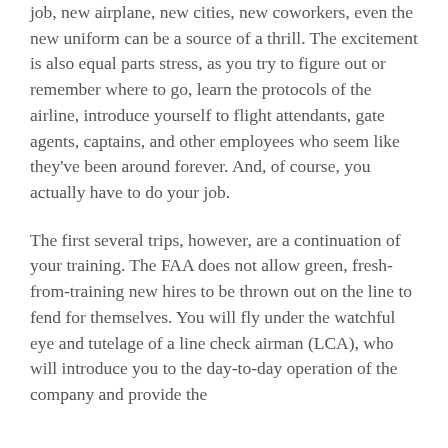job, new airplane, new cities, new coworkers, even the new uniform can be a source of a thrill. The excitement is also equal parts stress, as you try to figure out or remember where to go, learn the protocols of the airline, introduce yourself to flight attendants, gate agents, captains, and other employees who seem like they've been around forever. And, of course, you actually have to do your job.
The first several trips, however, are a continuation of your training. The FAA does not allow green, fresh-from-training new hires to be thrown out on the line to fend for themselves. You will fly under the watchful eye and tutelage of a line check airman (LCA), who will introduce you to the day-to-day operation of the company and provide the